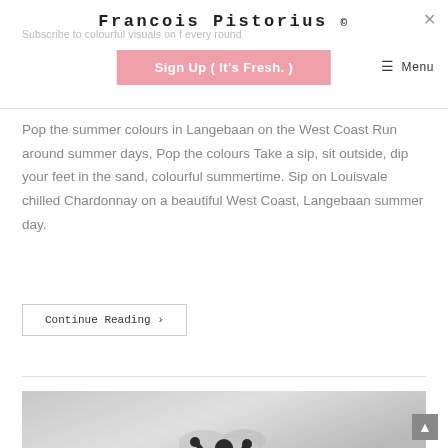Francois Pistorius ©
Subscribe to colourful visuals on f every round
Sign Up ( It's Fresh. )
☰ Menu
Pop the summer colours in Langebaan on the West Coast Run around summer days, Pop the colours Take a sip, sit outside, dip your feet in the sand, colourful summertime. Sip on Louisvale chilled Chardonnay on a beautiful West Coast, Langebaan summer day.
Continue Reading ›
[Figure (photo): Black and white photo of a person silhouette against a cloudy sky, appearing to be stretching or posing with arms raised]